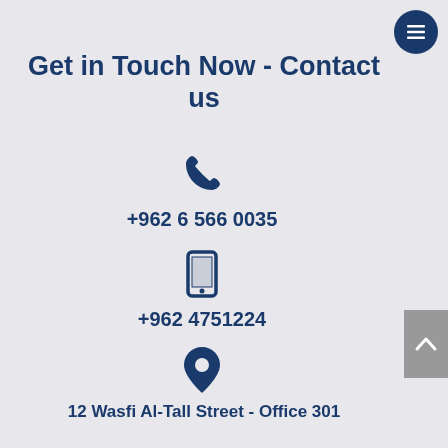Get in Touch Now - Contact us
+962 6 566 0035
+962 4751224
12 Wasfi Al-Tall Street - Office 301
info@dsteck.com